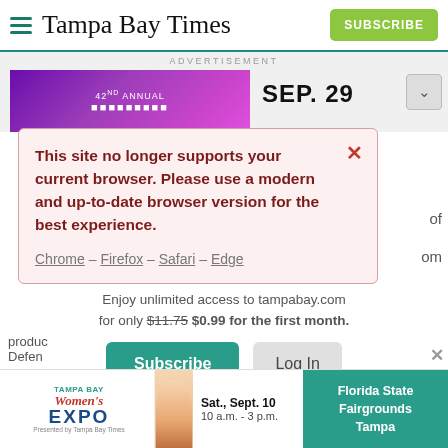Tampa Bay Times — SUBSCRIBE
ADVERTISEMENT
[Figure (screenshot): Ad banner showing '42nd Annual' event and 'SEP. 29' date with purple background]
This site no longer supports your current browser. Please use a modern and up-to-date browser version for the best experience.
Chrome – Firefox – Safari – Edge
Enjoy unlimited access to tampabay.com for only $11.75 $0.99 for the first month.
Subscribe | Log In
Interested in print delivery? Subscribe here →
[Figure (photo): Tampa Bay Women's Expo advertisement banner — Sat., Sept. 10, 10 a.m. - 3 p.m., Florida State Fairgrounds Tampa]